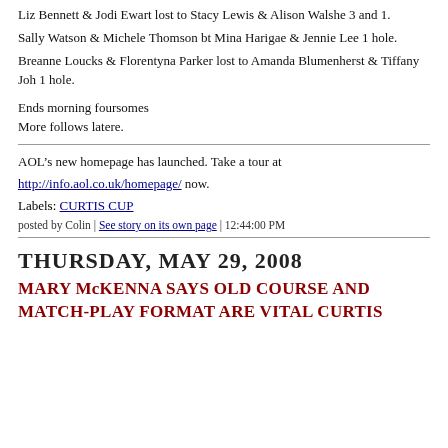Liz Bennett & Jodi Ewart lost to Stacy Lewis & Alison Walshe 3 and 1.
Sally Watson & Michele Thomson bt Mina Harigae & Jennie Lee 1 hole.
Breanne Loucks & Florentyna Parker lost to Amanda Blumenherst & Tiffany Joh 1 hole.
Ends morning foursomes
More follows latere.
AOL’s new homepage has launched. Take a tour at http://info.aol.co.uk/homepage/ now.
Labels: CURTIS CUP
posted by Colin | See story on its own page | 12:44:00 PM
THURSDAY, MAY 29, 2008
MARY McKENNA SAYS OLD COURSE AND MATCH-PLAY FORMAT ARE VITAL CURTIS